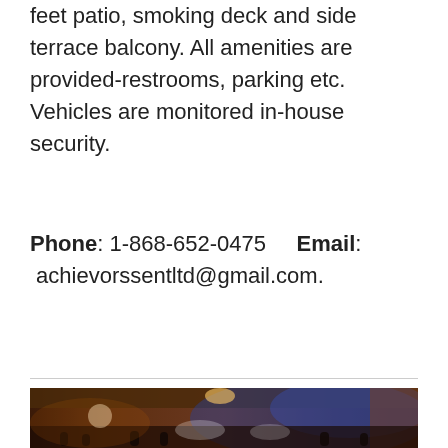feet patio, smoking deck and side terrace balcony. All amenities are provided-restrooms, parking etc. Vehicles are monitored in-house security.
Phone: 1-868-652-0475   Email: achievorssentltd@gmail.com.
[Figure (photo): Interior of a banquet or event hall with warm lighting, blue accent lights, draped white curtains, floral centerpieces, and guests seated at tables.]